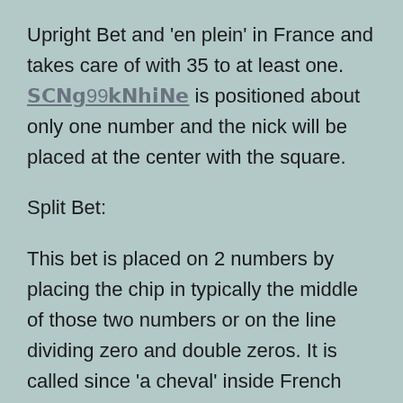Upright Bet and 'en plein' in France and takes care of with 35 to at least one. 𝗦𝗢𝗻𝗴99𝗼𝗻𝗹𝗶𝗻𝗲 is positioned about only one number and the nick will be placed at the center with the square.
Split Bet:
This bet is placed on 2 numbers by placing the chip in typically the middle of those two numbers or on the line dividing zero and double zeros. It is called since 'a cheval' inside French and compensates off at 19 to 1.